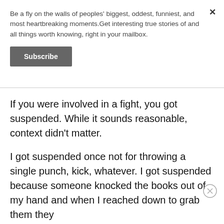Be a fly on the walls of peoples' biggest, oddest, funniest, and most heartbreaking moments.Get interesting true stories of and all things worth knowing, right in your mailbox.
Subscribe
If you were involved in a fight, you got suspended. While it sounds reasonable, context didn't matter.
I got suspended once not for throwing a single punch, kick, whatever. I got suspended because someone knocked the books out of my hand and when I reached down to grab them they
punched me in the face.